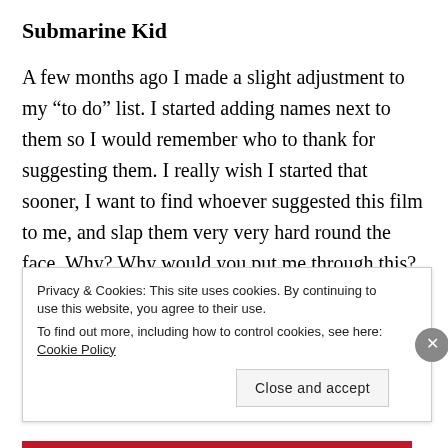Submarine Kid
A few months ago I made a slight adjustment to my “to do” list. I started adding names next to them so I would remember who to thank for suggesting them. I really wish I started that sooner, I want to find whoever suggested this film to me, and slap them very very hard round the face. Why? Why would you put me through this? Very Channel 5. Extremely bad dialogue. Can’t tell if it’s too American for me or whether it just doesn’t work as a film
Privacy & Cookies: This site uses cookies. By continuing to use this website, you agree to their use.
To find out more, including how to control cookies, see here: Cookie Policy

Close and accept